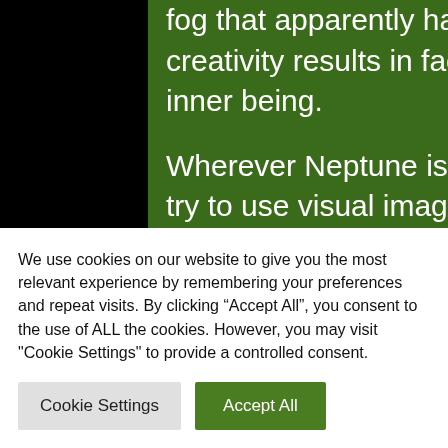fog that apparently has descended upon us. Neptunian creativity results in fact from being in contact with our inner being.

Wherever Neptune is transiting in our charts we should try to use visual imagination to picture ourselves functioning well and capably in the matters of that house. We should endeavour to integrate our senses and
We use cookies on our website to give you the most relevant experience by remembering your preferences and repeat visits. By clicking “Accept All”, you consent to the use of ALL the cookies. However, you may visit "Cookie Settings" to provide a controlled consent.